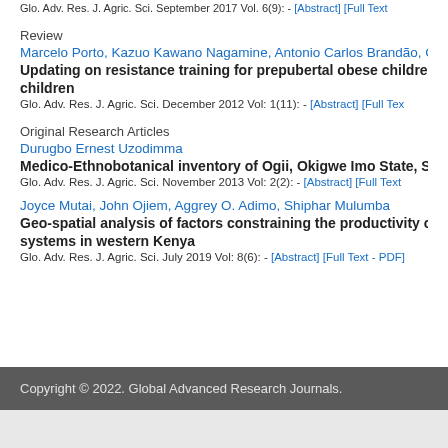Glo. Adv. Res. J. Agric. Sci. September 2017 Vol. 6(9): - [Abstract] [Full Text]
Review
Marcelo Porto, Kazuo Kawano Nagamine, Antonio Carlos Brandão, Cassiano Merussi Neiva
Updating on resistance training for prepubertal obese children
Glo. Adv. Res. J. Agric. Sci. December 2012 Vol: 1(11): - [Abstract] [Full Text]
Original Research Articles
Durugbo Ernest Uzodimma
Medico-Ethnobotanical inventory of Ogii, Okigwe Imo State, S
Glo. Adv. Res. J. Agric. Sci. November 2013 Vol: 2(2): - [Abstract] [Full Text]
Joyce Mutai, John Ojiem, Aggrey O. Adimo, Shiphar Mulumba
Geo-spatial analysis of factors constraining the productivity of systems in western Kenya
Glo. Adv. Res. J. Agric. Sci. July 2019 Vol: 8(6): - [Abstract] [Full Text - PDF]
Copyright © 2022. Global Advanced Research Journals.